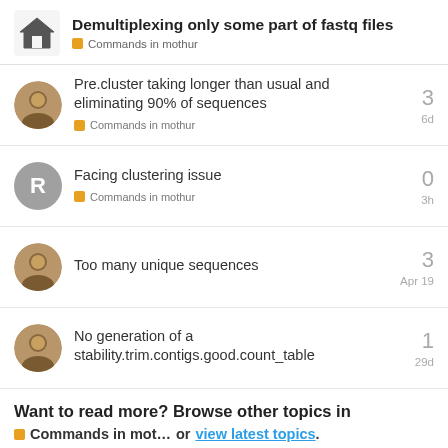Demultiplexing only some part of fastq files — Commands in mothur
Pre.cluster taking longer than usual and eliminating 90% of sequences — Commands in mothur — 3 replies — 6d
Facing clustering issue — Commands in mothur — 0 replies — 3h
Too many unique sequences — 3 replies — Apr 19
No generation of a stability.trim.contigs.good.count_table — 1 reply — 29d
Want to read more? Browse other topics in Commands in mot… or view latest topics.